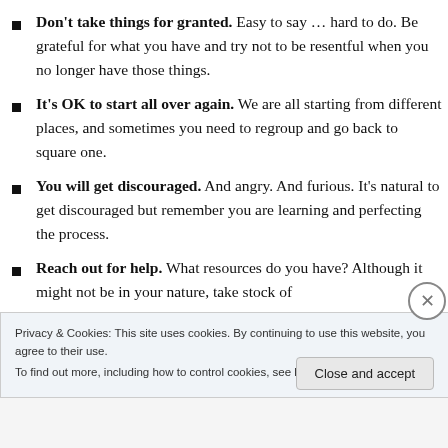Don't take things for granted. Easy to say … hard to do. Be grateful for what you have and try not to be resentful when you no longer have those things.
It's OK to start all over again. We are all starting from different places, and sometimes you need to regroup and go back to square one.
You will get discouraged. And angry. And furious. It's natural to get discouraged but remember you are learning and perfecting the process.
Reach out for help. What resources do you have? Although it might not be in your nature, take stock of
Privacy & Cookies: This site uses cookies. By continuing to use this website, you agree to their use.
To find out more, including how to control cookies, see here: Cookie Policy